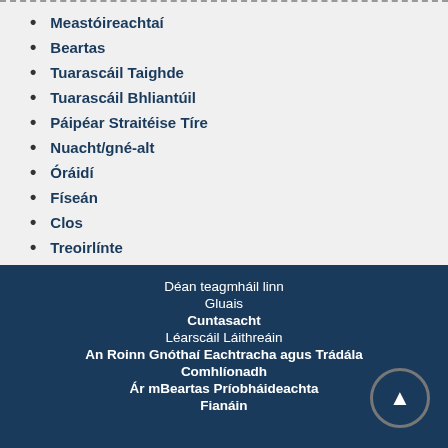Meastóireachtaí
Beartas
Tuarascáil Taighde
Tuarascáil Bhliantúil
Páipéar Straitéise Tíre
Nuacht/gné-alt
Óráidí
Físeán
Clos
Treoirlínte
Cás-Staidéar
Déan teagmháil linn
Gluais
Cuntasacht
Léarscáil Láithreáin
An Roinn Gnóthaí Eachtracha agus Trádála
Comhlíonadh
Ár mBeartas Príobháideachta
Fianáin